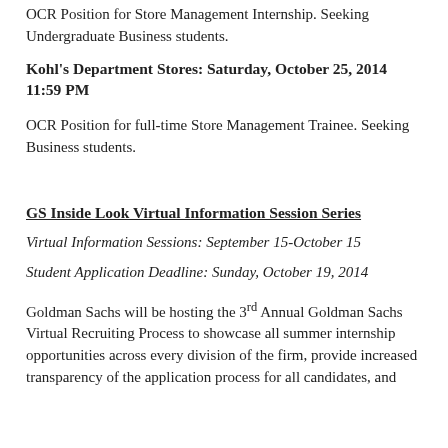OCR Position for Store Management Internship. Seeking Undergraduate Business students.
Kohl's Department Stores: Saturday, October 25, 2014 11:59 PM
OCR Position for full-time Store Management Trainee. Seeking Business students.
GS Inside Look Virtual Information Session Series
Virtual Information Sessions: September 15-October 15
Student Application Deadline: Sunday, October 19, 2014
Goldman Sachs will be hosting the 3rd Annual Goldman Sachs Virtual Recruiting Process to showcase all summer internship opportunities across every division of the firm, provide increased transparency of the application process for all candidates, and